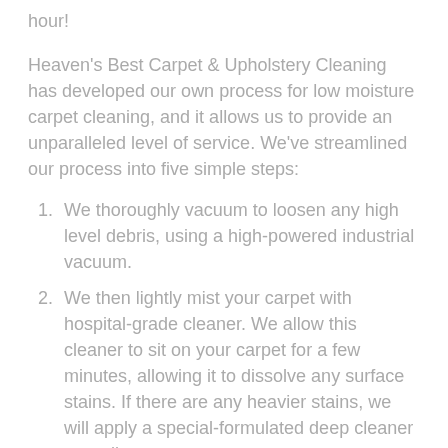hour!
Heaven's Best Carpet & Upholstery Cleaning has developed our own process for low moisture carpet cleaning, and it allows us to provide an unparalleled level of service. We've streamlined our process into five simple steps:
We thoroughly vacuum to loosen any high level debris, using a high-powered industrial vacuum.
We then lightly mist your carpet with hospital-grade cleaner. We allow this cleaner to sit on your carpet for a few minutes, allowing it to dissolve any surface stains. If there are any heavier stains, we will apply a special-formulated deep cleaner as well.
Then we'll use an orbital carpet cleaning machine outfitted with special cotton carpet